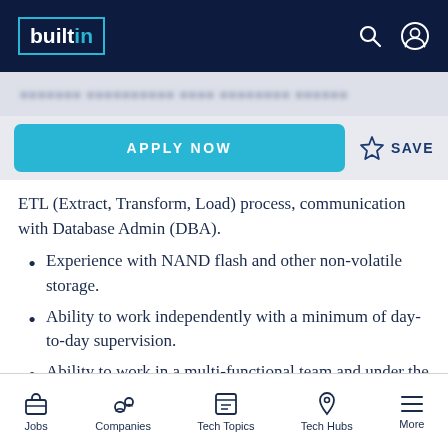builtin
ETL (Extract, Transform, Load) process, communication with Database Admin (DBA).
Experience with NAND flash and other non-volatile storage.
Ability to work independently with a minimum of day-to-day supervision.
Ability to work in a multi-functional team and under the pressure of multiple priorities.
About Micron Technology, Inc.
Jobs  Companies  Tech Topics  Tech Hubs  More